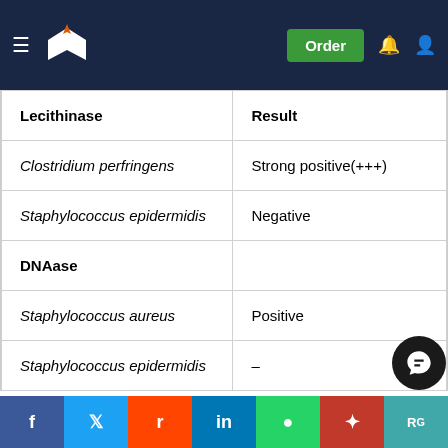Order
| Lecithinase | Result |
| --- | --- |
| Clostridium perfringens | Strong positive(+++) |
| Staphylococcus epidermidis | Negative |
| DNAase |  |
| Staphylococcus aureus | Positive |
| Staphylococcus epidermidis | – |